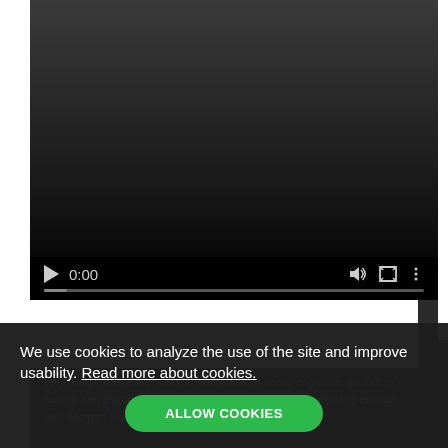[Figure (screenshot): Video player with dark background, showing controls: play button, time display '0:00', volume icon, fullscreen icon, more options icon, and a progress bar at the bottom.]
very redu... that suffer from impairments in social cognition, including autism and psycho... pression for that work from the following episode with Morgan Freeman:
We use cookies to analyze the use of the site and improve usability. Read more about cookies.
ALLOW COOKIES